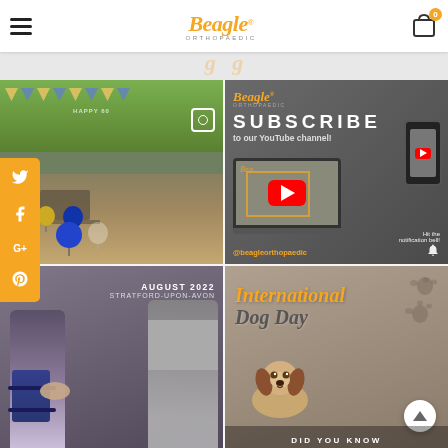Beagle Orthopaedic
[Figure (photo): Office birthday party photo with blue balloons, bunting decorations reading '60', and a desk workspace with windows showing green trees]
[Figure (infographic): Subscribe to our YouTube channel promotional graphic - Beagle Orthopaedic logo, SUBSCRIBE text, laptop with YouTube player and phone mockup, @beagleorthopaedic handle, Hit the notification bell text]
[Figure (photo): Physio/orthopaedic appointment photo showing knee brace being fitted, August 2022 Stratford-upon-Avon text overlay]
[Figure (infographic): International Dog Day promotional graphic with beagle puppy image, paw print icons, and DID YOU KNOW text at bottom]